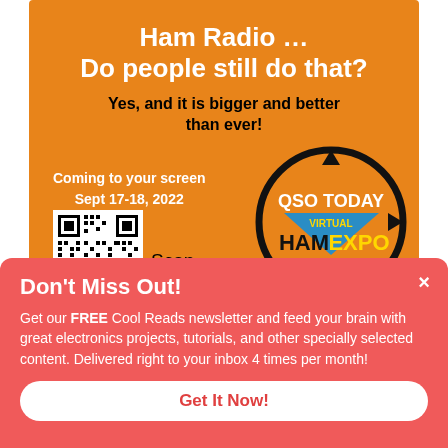[Figure (infographic): Orange advertisement banner for QSO Today Virtual Ham Expo, Sept 17-18 2022, with QR code and circular logo]
Ham Radio … Do people still do that?
Yes, and it is bigger and better than ever!
Coming to your screen Sept 17-18, 2022
Scan
Don't Miss Out!
Get our FREE Cool Reads newsletter and feed your brain with great electronics projects, tutorials, and other specially selected content. Delivered right to your inbox 4 times per month!
Get It Now!